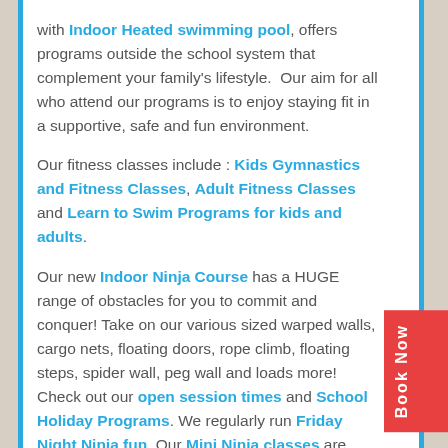with Indoor Heated swimming pool, offers programs outside the school system that complement your family's lifestyle. Our aim for all who attend our programs is to enjoy staying fit in a supportive, safe and fun environment.
Our fitness classes include : Kids Gymnastics and Fitness Classes, Adult Fitness Classes and Learn to Swim Programs for kids and adults.
Our new Indoor Ninja Course has a HUGE range of obstacles for you to commit and conquer! Take on our various sized warped walls, cargo nets, floating doors, rope climb, floating steps, spider wall, peg wall and loads more! Check out our open session times and School Holiday Programs. We regularly run Friday Night Ninja fun. Our Mini Ninja classes are perfect for toddlers and pre-